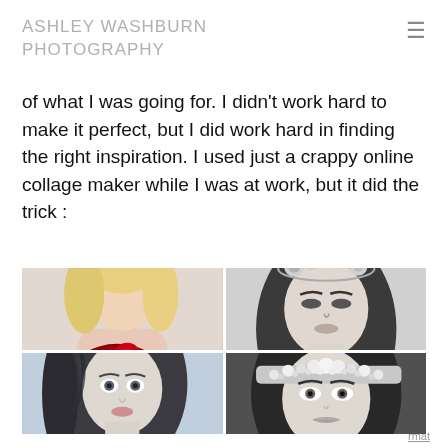ASHLEY WASHBURN PHOTOGRAPHY
of what I was going for. I didn't work hard to make it perfect, but I did work hard in finding the right inspiration. I used just a crappy online collage maker while I was at work, but it did the trick :
[Figure (photo): A 2x2 collage of four portrait photographs: top-left shows a blonde woman holding red roses (color photo); top-right shows a woman with a floral crown in black and white; bottom-left shows a young woman with flowing hair in a blue-toned photo; bottom-right shows a close-up of a woman with a jeweled headpiece in black and white.]
rmat